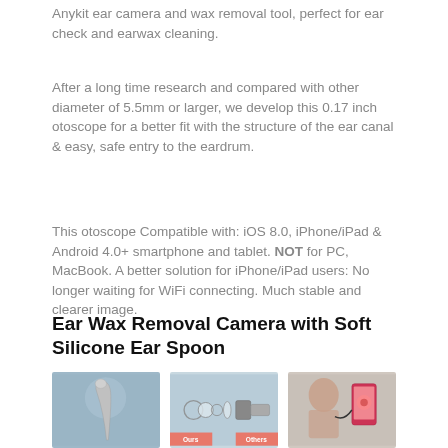Anykit ear camera and wax removal tool, perfect for ear check and earwax cleaning.
After a long time research and compared with other diameter of 5.5mm or larger, we develop this 0.17 inch otoscope for a better fit with the structure of the ear canal & easy, safe entry to the eardrum.
This otoscope Compatible with: iOS 8.0, iPhone/iPad & Android 4.0+ smartphone and tablet. NOT for PC, MacBook. A better solution for iPhone/iPad users: No longer waiting for WiFi connecting. Much stable and clearer image.
Ear Wax Removal Camera with Soft Silicone Ear Spoon
[Figure (photo): Three product photos: left shows a bent metal ear spoon tool on blue background; center shows exploded/cross-section view of the ear camera lens assembly on blue background with 'Ours' and 'Others' labels; right shows a person using the ear camera connected to a smartphone.]